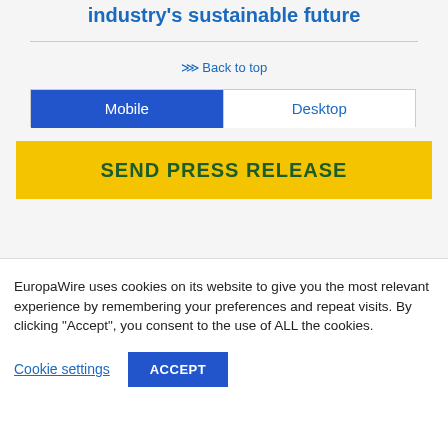industry's sustainable future
⋙ Back to top
Mobile | Desktop (tab switcher)
SEND PRESS RELEASE
EuropaWire uses cookies on its website to give you the most relevant experience by remembering your preferences and repeat visits. By clicking "Accept", you consent to the use of ALL the cookies.
Cookie settings | ACCEPT